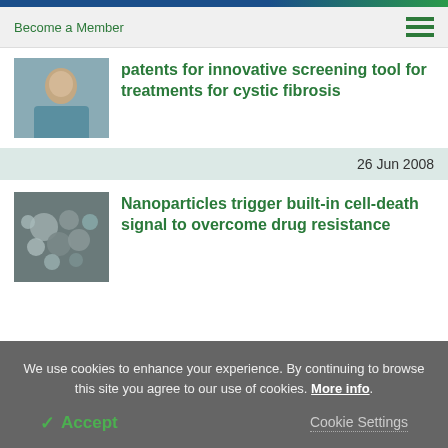Become a Member
patents for innovative screening tool for treatments for cystic fibrosis
26 Jun 2008
Nanoparticles trigger built-in cell-death signal to overcome drug resistance
We use cookies to enhance your experience. By continuing to browse this site you agree to our use of cookies. More info.
Accept
Cookie Settings